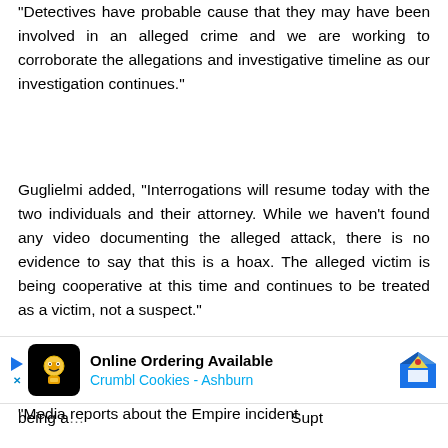“Detectives have probable cause that they may have been involved in an alleged crime and we are working to corroborate the allegations and investigative timeline as our investigation continues.”
Guglielmi added, “Interrogations will resume today with the two individuals and their attorney. While we haven't found any video documenting the alleged attack, there is no evidence to say that this is a hoax. The alleged victim is being cooperative at this time and continues to be treated as a victim, not a suspect.”
In response to reports that the attack was staged by Smollett and the two men, Anthony tweeted on Thursday: “Media reports about the Empire incident being a… Supt
[Figure (other): Advertisement banner for Crumbl Cookies - Ashburn showing Online Ordering Available with logo and map navigation icon]